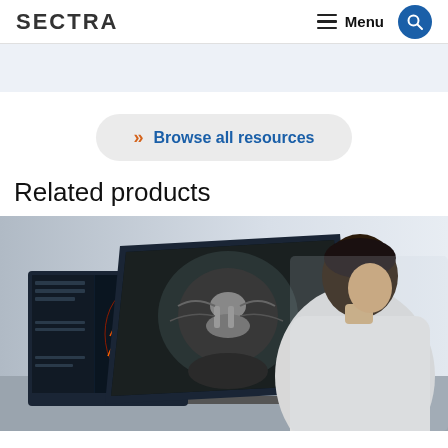SECTRA
Menu
[Figure (screenshot): Light blue banner/strip at top of page content area]
>> Browse all resources
Related products
[Figure (photo): A medical professional in a white coat seen from behind, looking at two monitors displaying medical imaging scans including a 3D CT angiogram and an MRI/CT scan]